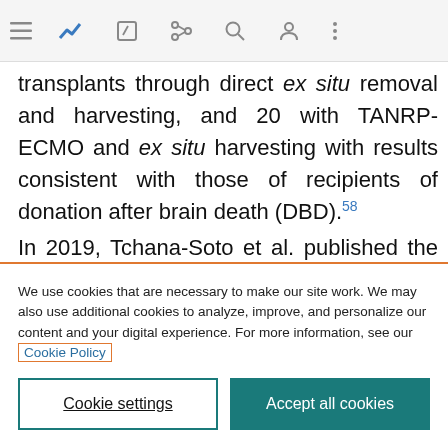Navigation bar with menu, bookmark, share, search, profile, and more icons
transplants through direct ex situ removal and harvesting, and 20 with TANRP-ECMO and ex situ harvesting with results consistent with those of recipients of donation after brain death (DBD).58
In 2019, Tchana-Soto et al. published the first 2 non-
We use cookies that are necessary to make our site work. We may also use additional cookies to analyze, improve, and personalize our content and your digital experience. For more information, see our Cookie Policy
Cookie settings
Accept all cookies